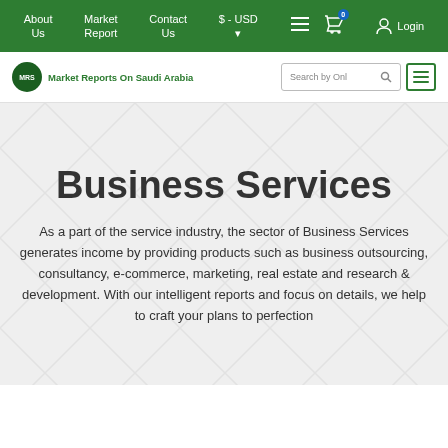About Us | Market Report | Contact Us | $ - USD | Login
[Figure (logo): Market Reports On Saudi Arabia logo with search box and menu button]
Business Services
As a part of the service industry, the sector of Business Services generates income by providing products such as business outsourcing, consultancy, e-commerce, marketing, real estate and research & development. With our intelligent reports and focus on details, we help to craft your plans to perfection